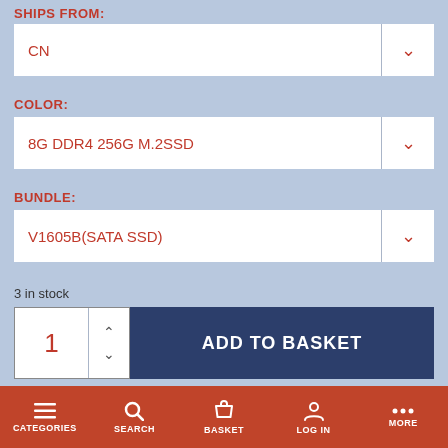SHIPS FROM:
CN
COLOR:
8G DDR4 256G M.2SSD
BUNDLE:
V1605B(SATA SSD)
3 in stock
1
ADD TO BASKET
CATEGORIES  SEARCH  BASKET  LOG IN  MORE